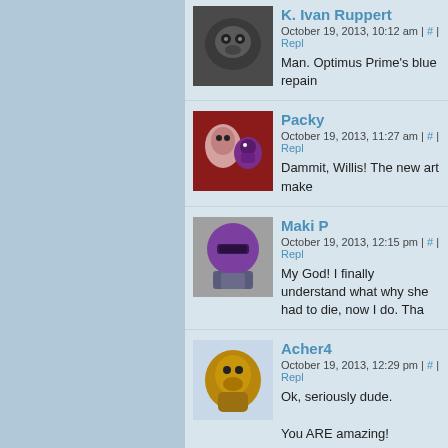K. Ivan Ruppert
October 19, 2013, 10:12 am | # | Repl
Man. Optimus Prime's blue repain
Packy
October 19, 2013, 11:27 am | # | Repl
Dammit, Willis! The new art make
Maki P
October 19, 2013, 12:15 pm | # | Repl
My God! I finally understand what why she had to die, now I do. Tha
Acher4
October 19, 2013, 12:29 pm | # | Repl
Ok, seriously dude.
You ARE amazing!
saltchocolate
October 19, 2013, 12:47 pm | # | Repl
Wow. Just . . . wow. About many t